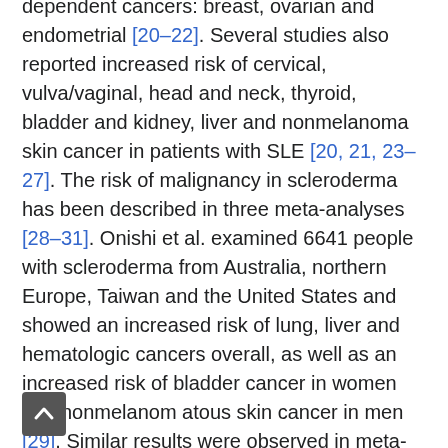dependent cancers: breast, ovarian and endometrial [20–22]. Several studies also reported increased risk of cervical, vulva/vaginal, head and neck, thyroid, bladder and kidney, liver and nonmelanoma skin cancer in patients with SLE [20, 21, 23–27]. The risk of malignancy in scleroderma has been described in three meta-analyses [28–31]. Onishi et al. examined 6641 people with scleroderma from Australia, northern Europe, Taiwan and the United States and showed an increased risk of lung, liver and hematologic cancers overall, as well as an increased risk of bladder cancer in women and nonmelanom atous skin cancer in men [29]. Similar results were observed in meta-analysis by Zhang et al. [30]. The authors observed increased cancer risk for lung cancer, hematopoietic cancer and non-Hodgkin lymphoma. The largest meta-analysis to date was